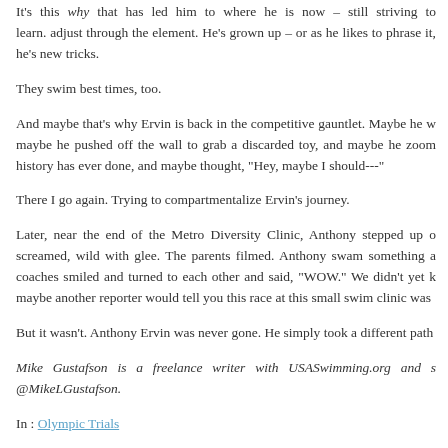It's this why that has led him to where he is now – still striving to learn. adjust through the element. He's grown up – or as he likes to phrase it, he's new tricks.
They swim best times, too.
And maybe that's why Ervin is back in the competitive gauntlet. Maybe he w maybe he pushed off the wall to grab a discarded toy, and maybe he zoom history has ever done, and maybe thought, "Hey, maybe I should---"
There I go again. Trying to compartmentalize Ervin's journey.
Later, near the end of the Metro Diversity Clinic, Anthony stepped up o screamed, wild with glee. The parents filmed. Anthony swam something a coaches smiled and turned to each other and said, "WOW." We didn't yet k maybe another reporter would tell you this race at this small swim clinic was
But it wasn't. Anthony Ervin was never gone. He simply took a different path
Mike Gustafson is a freelance writer with USASwimming.org and s @MikeLGustafson.
In : Olympic Trials
« Back to posts